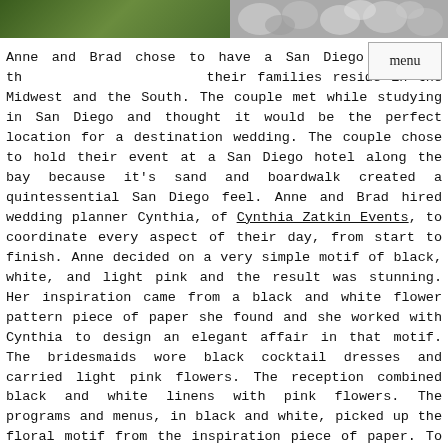[Figure (photo): Two-part photo strip at the top: left half shows green foliage/grass, right half shows what appears to be a floral or textured arrangement in grays and whites.]
Anne and Brad chose to have a San Diego wedding, though their families reside in the Midwest and the South. The couple met while studying in San Diego and thought it would be the perfect location for a destination wedding. The couple chose to hold their event at a San Diego hotel along the bay because it's sand and boardwalk created a quintessential San Diego feel. Anne and Brad hired wedding planner Cynthia, of Cynthia Zatkin Events, to coordinate every aspect of their day, from start to finish. Anne decided on a very simple motif of black, white, and light pink and the result was stunning. Her inspiration came from a black and white flower pattern piece of paper she found and she worked with Cynthia to design an elegant affair in that motif. The bridesmaids wore black cocktail dresses and carried light pink flowers. The reception combined black and white linens with pink flowers. The programs and menus, in black and white, picked up the floral motif from the inspiration piece of paper. To cap it all off, musicians Silverwood serenaded the guests throughout the ceremony and cocktail hour. The look and music created a serene and intimate affair.